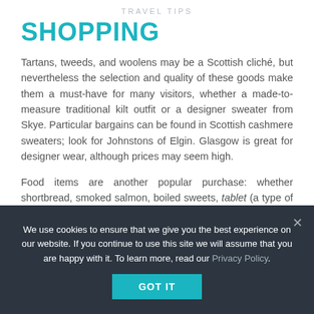TRAVEL TIPS
SHOPPING
Tartans, tweeds, and woolens may be a Scottish cliché, but nevertheless the selection and quality of these goods make them a must-have for many visitors, whether a made-to-measure traditional kilt outfit or a designer sweater from Skye. Particular bargains can be found in Scottish cashmere sweaters; look for Johnstons of Elgin. Glasgow is great for designer wear, although prices may seem high.
Food items are another popular purchase: whether shortbread, smoked salmon, boiled sweets, tablet (a type of hard fudge), marmalade and raspberry jams, Dundee cake, or black bun, it's far too easy to eat your way around Scotland.
Unique jewelry is available all over Scotland, but especially in
We use cookies to ensure that we give you the best experience on our website. If you continue to use this site we will assume that you are happy with it. To learn more, read our Privacy Policy.